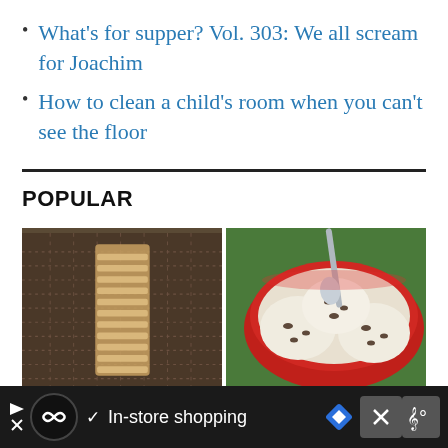What's for supper? Vol. 303: We all scream for Joachim
How to clean a child's room when you can't see the floor
POPULAR
[Figure (photo): Left: burlap or mesh fabric with a plastic bag spine-like structure visible. Right: scoops of ice cream in a red bowl with chocolate chips, viewed from above, with a spoon.]
In-store shopping (advertisement bar)